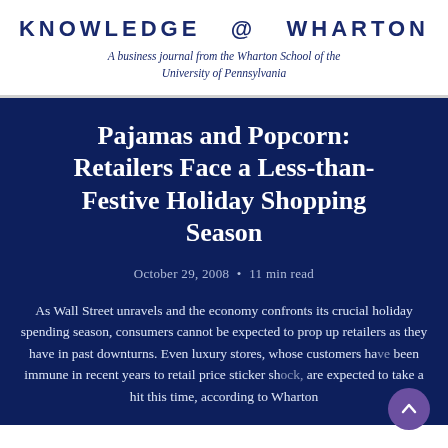KNOWLEDGE@WHARTON
A business journal from the Wharton School of the University of Pennsylvania
Pajamas and Popcorn: Retailers Face a Less-than-Festive Holiday Shopping Season
October 29, 2008 • 11 min read
As Wall Street unravels and the economy confronts its crucial holiday spending season, consumers cannot be expected to prop up retailers as they have in past downturns. Even luxury stores, whose customers have been immune in recent years to retail price sticker shock, are expected to take a hit this time, according to Wharton